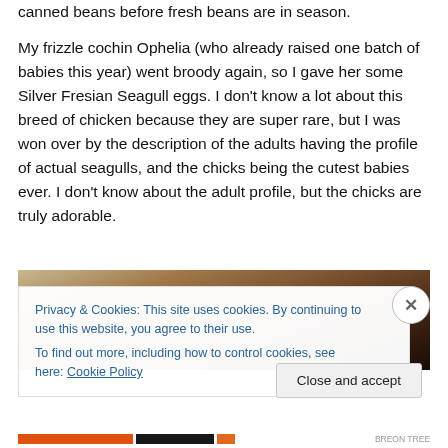canned beans before fresh beans are in season.
My frizzle cochin Ophelia (who already raised one batch of babies this year) went broody again, so I gave her some Silver Fresian Seagull eggs. I don't know a lot about this breed of chicken because they are super rare, but I was won over by the description of the adults having the profile of actual seagulls, and the chicks being the cutest babies ever. I don't know about the adult profile, but the chicks are truly adorable.
[Figure (photo): Partial photo of what appears to be a wooden structure or coop interior, partially obscured by a cookie consent banner.]
Privacy & Cookies: This site uses cookies. By continuing to use this website, you agree to their use.
To find out more, including how to control cookies, see here: Cookie Policy
Close and accept